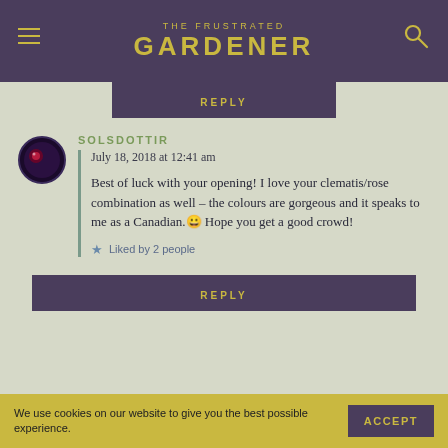THE FRUSTRATED GARDENER
REPLY
SOLSDOTTIR
July 18, 2018 at 12:41 am
Best of luck with your opening! I love your clematis/rose combination as well – the colours are gorgeous and it speaks to me as a Canadian. 😀 Hope you get a good crowd!
Liked by 2 people
REPLY
We use cookies on our website to give you the best possible experience.